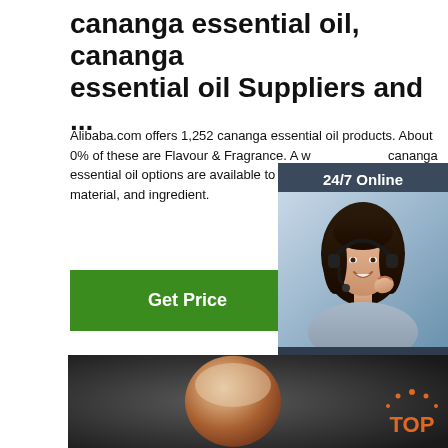cananga essential oil, cananga essential oil Suppliers and ...
Alibaba.com offers 1,252 cananga essential oil products. About 0% of these are Flavour & Fragrance. A wide variety of cananga essential oil options are available to you, supply type, raw material, and ingredient.
[Figure (screenshot): Green 'Get Price' button]
[Figure (photo): 24/7 Online chat widget with woman wearing headset and 'Click here for free chat!' text and orange QUOTATION button]
[Figure (photo): Product image showing a shiny copper/bronze colored capsule or drop shape on dark background, with orange TOP logo in lower right]